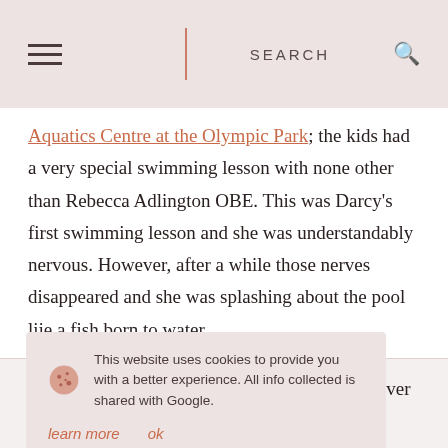SEARCH
Aquatics Centre at the Olympic Park; the kids had a very special swimming lesson with none other than Rebecca Adlington OBE. This was Darcy's first swimming lesson and she was understandably nervous. However, after a while those nerves disappeared and she was splashing about the pool lije a fish born to water.
The lesson was run by a fab teacher called Donna and assisted by the amazing Rebecca who was amazing with s using floating ame, where the r floats as
This website uses cookies to provide you with a better experience. All info collected is shared with Google. learn more ok
Darcy had an amazing time and it took me forever to get her